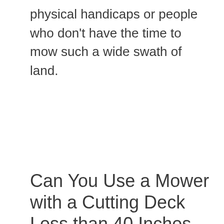physical handicaps or people who don't have the time to mow such a wide swath of land.
Can You Use a Mower with a Cutting Deck Less than 40 Inches